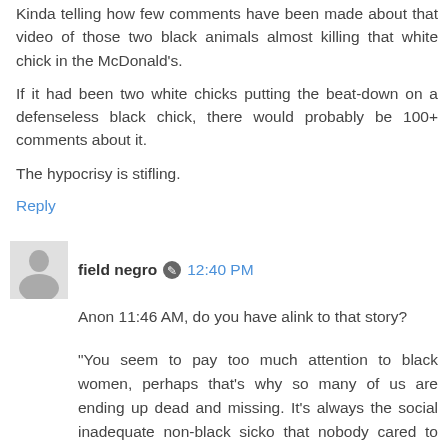Kinda telling how few comments have been made about that video of those two black animals almost killing that white chick in the McDonald's.
If it had been two white chicks putting the beat-down on a defenseless black chick, there would probably be 100+ comments about it.
The hypocrisy is stifling.
Reply
field negro  12:40 PM
Anon 11:46 AM, do you have alink to that story?
"You seem to pay too much attention to black women, perhaps that's why so many of us are ending up dead and missing. It's always the social inadequate non-black sicko that nobody cared to look at because he doesn't fit the "profile"."